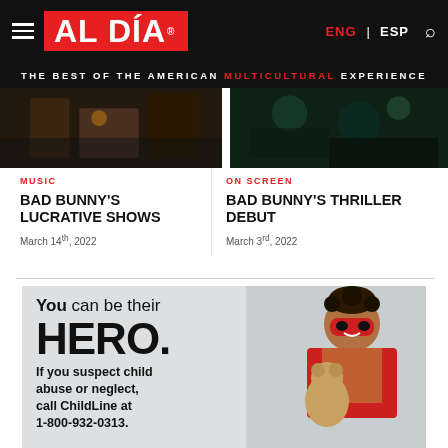AL DÍA | THE BEST OF THE AMERICAN MULTICULTURAL EXPERIENCE
[Figure (photo): Two article images: left shows a dark concert scene, right shows a dark teal scene]
MUSIC
BAD BUNNY'S LUCRATIVE SHOWS
March 14th, 2022
ON SCREEN
BAD BUNNY'S THRILLER DEBUT
March 3rd, 2022
[Figure (infographic): Advertisement: You can be their HERO. If you suspect child abuse or neglect, call ChildLine at 1-800-932-0313. Shows a child wearing a red superhero cape and mask holding a teddy bear.]